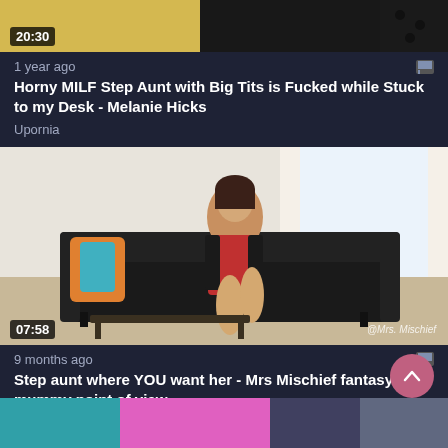[Figure (screenshot): Partial video thumbnail showing cropped image at top with duration badge 20:30]
1 year ago
Horny MILF Step Aunt with Big Tits is Fucked while Stuck to my Desk - Melanie Hicks
Upornia
[Figure (screenshot): Video thumbnail showing a woman sitting on a black sofa in a room with white curtains and decorative pillows. Duration badge shows 07:58. Watermark reads @Mrs. Mischief]
9 months ago
Step aunt where YOU want her - Mrs Mischief fantasy mummy point of view
VideoSection
[Figure (screenshot): Partial video thumbnail at bottom showing cropped image with bright colors]